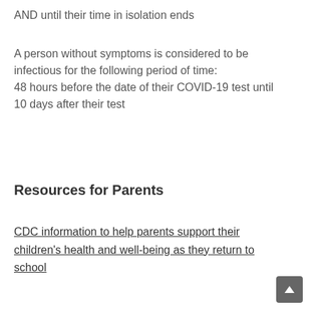AND until their time in isolation ends
A person without symptoms is considered to be infectious for the following period of time:
48 hours before the date of their COVID-19 test until 10 days after their test
Resources for Parents
CDC information to help parents support their children's health and well-being as they return to school